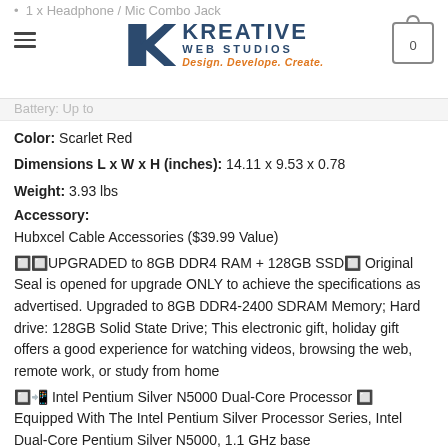Kreative Web Studios — Design. Develope. Create.
1 x Headphone / Mic Combo Jack
Battery: Up to ...
Color: Scarlet Red
Dimensions L x W x H (inches): 14.11 x 9.53 x 0.78
Weight: 3.93 lbs
Accessory:
Hubxcel Cable Accessories ($39.99 Value)
🔲🔲UPGRADED to 8GB DDR4 RAM + 128GB SSD🔲 Original Seal is opened for upgrade ONLY to achieve the specifications as advertised. Upgraded to 8GB DDR4-2400 SDRAM Memory; Hard drive: 128GB Solid State Drive; This electronic gift, holiday gift offers a good experience for watching videos, browsing the web, remote work, or study from home
🔲🔲 Intel Pentium Silver N5000 Dual-Core Processor 🔲 Equipped With The Intel Pentium Silver Processor Series, Intel Dual-Core Pentium Silver N5000, 1.1 GHz base